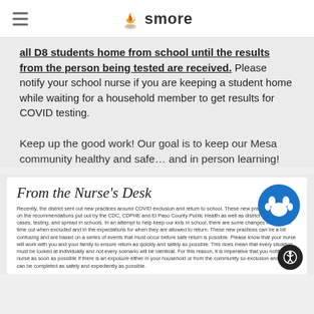smore
all D8 students home from school until the results from the person being tested are received. Please notify your school nurse if you are keeping a student home while waiting for a household member to get results for COVID testing.
Keep up the good work! Our goal is to keep our Mesa community healthy and safe… and in person learning!
[Figure (illustration): White card with 'From the Nurse's Desk' cursive title, a blue circle paw print logo in top right, and small body text about COVID exclusion and return to school practices.]